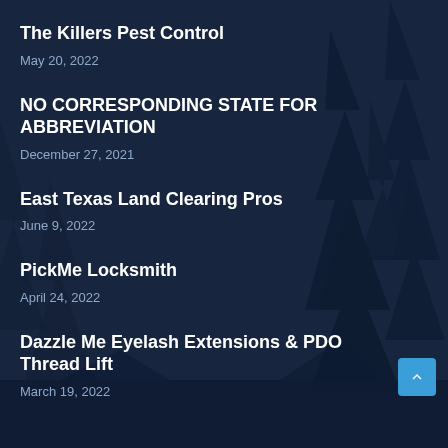[Figure (illustration): Dark navy blue forest background with silhouettes of pine/fir trees]
The Killers Pest Control
May 20, 2022
NO CORRESPONDING STATE FOR ABBREVIATION
December 27, 2021
East Texas Land Clearing Pros
June 9, 2022
PickMe Locksmith
April 24, 2022
Dazzle Me Eyelash Extensions & PDO Thread Lift
March 19, 2022